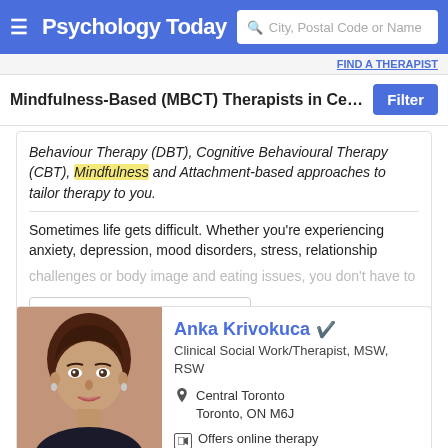Psychology Today — City, Postal Code or Name search
Mindfulness-Based (MBCT) Therapists in Central Toro...
Behaviour Therapy (DBT), Cognitive Behavioural Therapy (CBT), Mindfulness and Attachment-based approaches to tailor therapy to you.
Sometimes life gets difficult. Whether you're experiencing anxiety, depression, mood disorders, stress, relationship challenges or body image and eating issues, you don't have to
Email
Anka Krivokuca
Clinical Social Work/Therapist, MSW, RSW
Central Toronto
Toronto, ON M6J
Offers online therapy